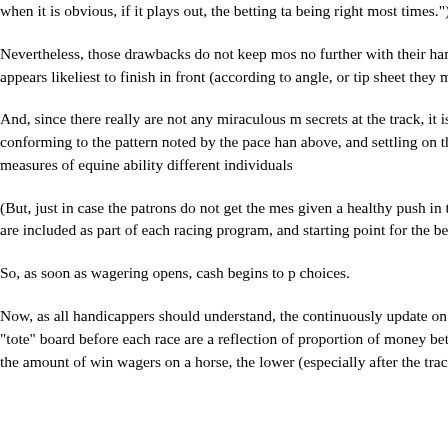when it is obvious, if it plays out, the betting ta being right most times.")
Nevertheless, those drawbacks do not keep most bettors, who go no further with their handicapping than locating the horse that appears likeliest to finish in front (according to whatever system, angle, or tip sheet they may be using), and betti
And, since there really are not any miraculous methods or secrets at the track, it is no great surprise that many races are conforming to the pattern noted by the pace handicapper mentioned above, and settling on the same standout horses—since the various measures of equine ability different individuals
(But, just in case the patrons do not get the message, they are given a healthy push in that direction by the morning-line odds are included as part of each racing program, and serve as a starting point for the betting on each race.)
So, as soon as wagering opens, cash begins to p choices.
Now, as all handicappers should understand, the odds that continuously update on the track television monitors and on the "tote" board before each race are a reflection of the proportion of money bet on each thoroughbred to win—the higher the amount of win wagers on a horse, the lower its odds (especially after the track deducts its normal "ta